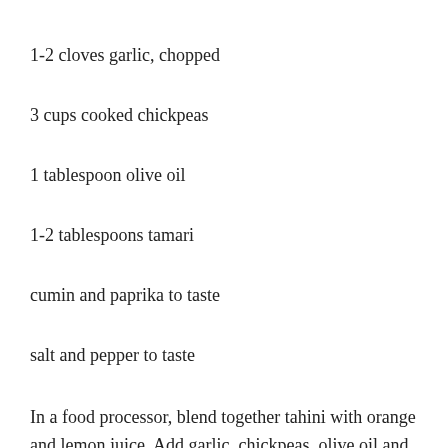1-2 cloves garlic, chopped
3 cups cooked chickpeas
1 tablespoon olive oil
1-2 tablespoons tamari
cumin and paprika to taste
salt and pepper to taste
In a food processor, blend together tahini with orange and lemon juice. Add garlic, chickpeas, olive oil and tamari process until smooth. Season with cumin, paprika, salt and pepper, process until combined. Adjust seasoning to your taste, enjoy the hummus with crackers,